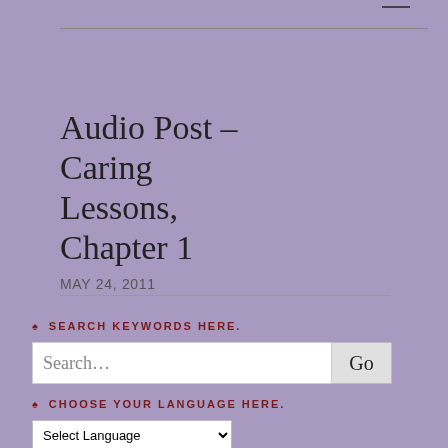Audio Post – Caring Lessons, Chapter 1
MAY 24, 2011
♠ SEARCH KEYWORDS HERE.
Search...
Go
♠ CHOOSE YOUR LANGUAGE HERE.
Select Language
Powered by Google Translate